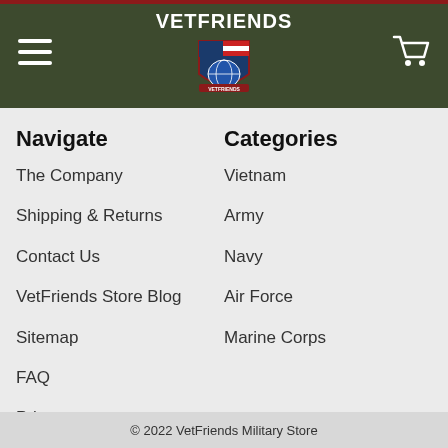VETFRIENDS
Navigate
Categories
The Company
Vietnam
Shipping & Returns
Army
Contact Us
Navy
VetFriends Store Blog
Air Force
Sitemap
Marine Corps
FAQ
Privacy
© 2022 VetFriends Military Store